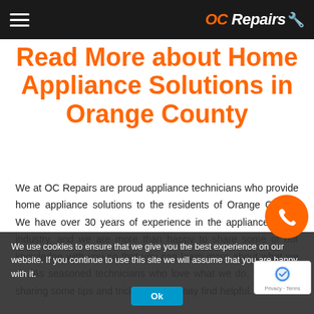OC Repairs
Read More about Home Appliance Solutions in Orange County
We at OC Repairs are proud appliance technicians who provide home appliance solutions to the residents of Orange County. We have over 30 years of experience in the appliance repair industry, and we are more than happy to share some of our knowledge with you so that you can learn more about what we do. As seasoned technicians who love what we do, we will be sharing some tips and tricks that you may find helpful.

Feel free to browse through our published blogs below, should you have any questions, please get in touch with us. On the other hand, if you need our help with appliance
We use cookies to ensure that we give you the best experience on our website. If you continue to use this site we will assume that you are happy with it.